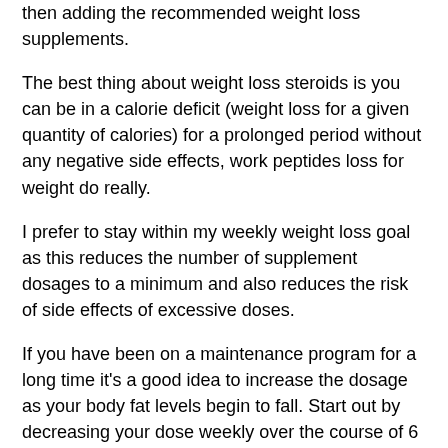then adding the recommended weight loss supplements.
The best thing about weight loss steroids is you can be in a calorie deficit (weight loss for a given quantity of calories) for a prolonged period without any negative side effects, work peptides loss for weight do really.
I prefer to stay within my weekly weight loss goal as this reduces the number of supplement dosages to a minimum and also reduces the risk of side effects of excessive doses.
If you have been on a maintenance program for a long time it's a good idea to increase the dosage as your body fat levels begin to fall. Start out by decreasing your dose weekly over the course of 6 to 8 weeks and then increasing gradually at first until you've reached your recommended amount of daily